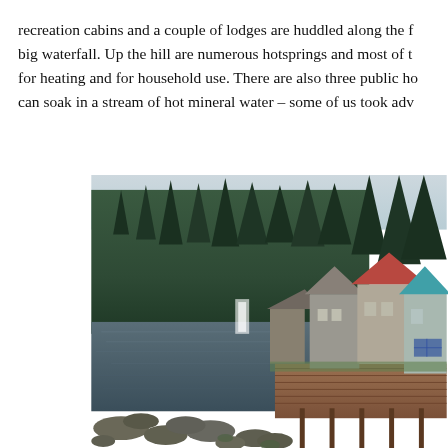recreation cabins and a couple of lodges are huddled along the f... big waterfall. Up the hill are numerous hotsprings and most of t... for heating and for household use. There are also three public ho... can soak in a stream of hot mineral water – some of us took adv...
[Figure (photo): Photograph of a small coastal settlement with colourful A-frame cabins and lodges on a wooden boardwalk/pier along a rocky inlet shoreline. Dense evergreen forest covers the hillside in the background. Overcast sky. Buildings include structures with red, teal, and grey roofs. A small waterfall is visible in the middle distance.]